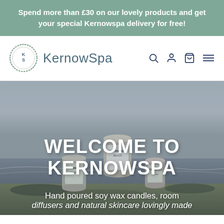Spend more than £30 on our lovely products and get your special Kernowspa delivery for free!
[Figure (logo): KernowSpa circular logo with KS letters and brand name, plus navigation icons for search, account, cart, and menu]
[Figure (photo): Beach scene with Cornwall-branded soy wax candle tins on a rocky shore with sea in the background]
WELCOME TO KERNOWSPA
Hand poured soy wax candles, room diffusers and natural skincare lovingly made